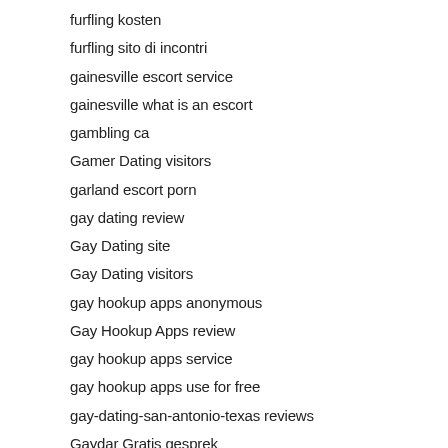furfling kosten
furfling sito di incontri
gainesville escort service
gainesville what is an escort
gambling ca
Gamer Dating visitors
garland escort porn
gay dating review
Gay Dating site
Gay Dating visitors
gay hookup apps anonymous
Gay Hookup Apps review
gay hookup apps service
gay hookup apps use for free
gay-dating-san-antonio-texas reviews
Gaydar Gratis gesprek
gaydar seiten
gaydar sign in